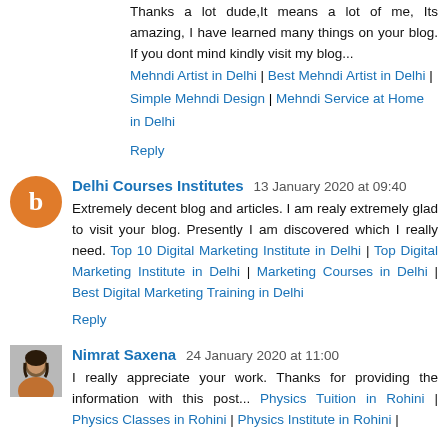Thanks a lot dude,It means a lot of me, Its amazing, I have learned many things on your blog. If you dont mind kindly visit my blog... Mehndi Artist in Delhi | Best Mehndi Artist in Delhi | Simple Mehndi Design | Mehndi Service at Home in Delhi
Reply
Delhi Courses Institutes  13 January 2020 at 09:40
Extremely decent blog and articles. I am realy extremely glad to visit your blog. Presently I am discovered which I really need. Top 10 Digital Marketing Institute in Delhi | Top Digital Marketing Institute in Delhi | Marketing Courses in Delhi | Best Digital Marketing Training in Delhi
Reply
Nimrat Saxena  24 January 2020 at 11:00
I really appreciate your work. Thanks for providing the information with this post... Physics Tuition in Rohini | Physics Classes in Rohini | Physics Institute in Rohini |